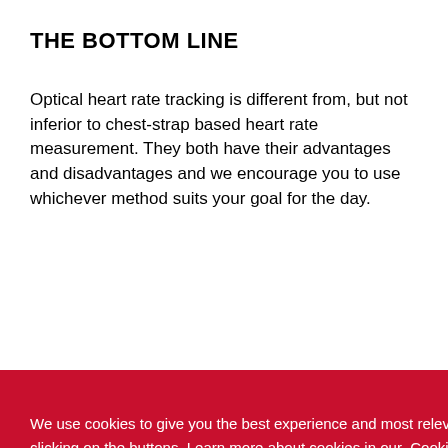THE BOTTOM LINE
Optical heart rate tracking is different from, but not inferior to chest-strap based heart rate measurement. They both have their advantages and disadvantages and we encourage you to use whichever method suits your goal for the day.
We use cookies to give you the best experience and most relevant ads. You can allow or decline the use of cookies by clicking on the buttons. Learn more about cookies in our Cookie Policy .
Decline
Allow cookies